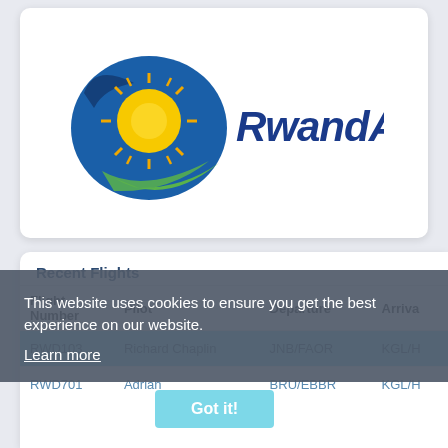[Figure (logo): RwandAir logo: circular blue and green swoosh with yellow sun, text 'RwandAir' in dark blue italic]
Recent Flights
| Flight Number | Pilot | Departure | Arriva |
| --- | --- | --- | --- |
| RWD103 | Richard Chaplin | JNB/FAOR | KGL/H |
| RWD701 | Adrian | BRU/EBBR | KGL/H |
This website uses cookies to ensure you get the best experience on our website.
Learn more
Got it!